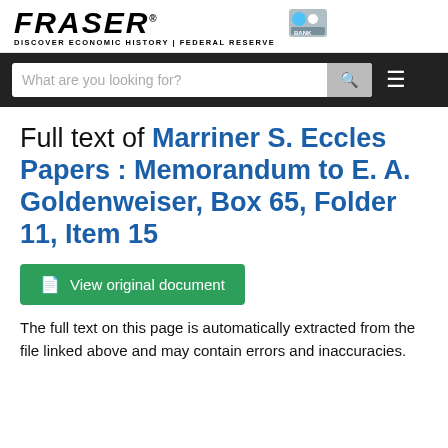FRASER - DISCOVER ECONOMIC HISTORY | FEDERAL RESERVE
[Figure (screenshot): FRASER logo with navigation search bar on dark background]
Full text of Marriner S. Eccles Papers : Memorandum to E. A. Goldenweiser, Box 65, Folder 11, Item 15
View original document
The full text on this page is automatically extracted from the file linked above and may contain errors and inaccuracies.